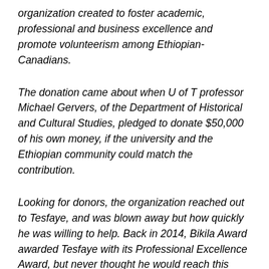organization created to foster academic, professional and business excellence and promote volunteerism among Ethiopian-Canadians.
The donation came about when U of T professor Michael Gervers, of the Department of Historical and Cultural Studies, pledged to donate $50,000 of his own money, if the university and the Ethiopian community could match the contribution.
Looking for donors, the organization reached out to Tesfaye, and was blown away but how quickly he was willing to help. Back in 2014, Bikila Award awarded Tesfaye with its Professional Excellence Award, but never thought he would reach this peak of fame.